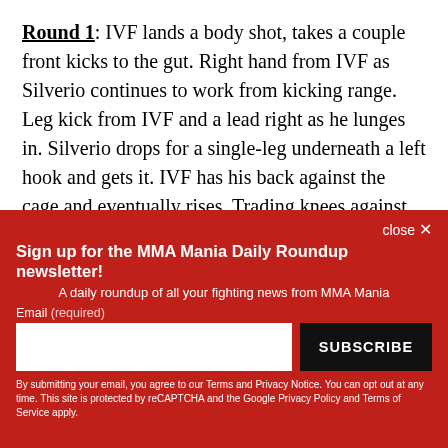Round 1: IVF lands a body shot, takes a couple front kicks to the gut. Right hand from IVF as Silverio continues to work from kicking range. Leg kick from IVF and a lead right as he lunges in. Silverio drops for a single-leg underneath a left hook and gets it. IVF has his back against the cage and eventually rises. Trading knees against the cage, IVF pushes off. Silverio's
close ×
Sign up for the MMA Mania Daily Roundup newsletter!
A daily roundup of all your fighting news from MMA Mania
Email (required)
SUBSCRIBE
By submitting your email, you agree to our Terms and Privacy Notice. You can opt out at any time. This site is protected by reCAPTCHA and the Google Privacy Policy and Terms of Service apply.